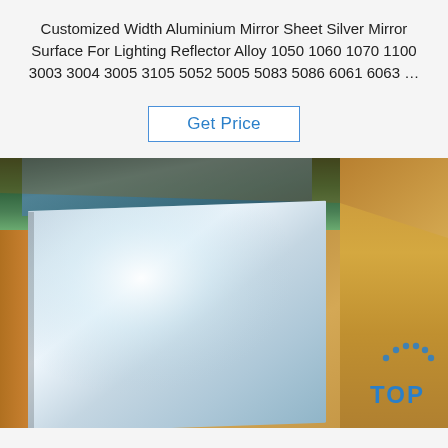Customized Width Aluminium Mirror Sheet Silver Mirror Surface For Lighting Reflector Alloy 1050 1060 1070 1100 3003 3004 3005 3105 5052 5005 5083 5086 6061 6063 ...
[Figure (other): Button/link labeled 'Get Price' with blue text and border on white background]
[Figure (photo): Photo of a shiny aluminium mirror sheet being unwrapped from cardboard and brown paper packaging. The sheet has a reflective silver surface with a light blue-white highlight. A blue plastic wrap is visible at the top. A 'TOP' logo with dots appears in the bottom right corner.]